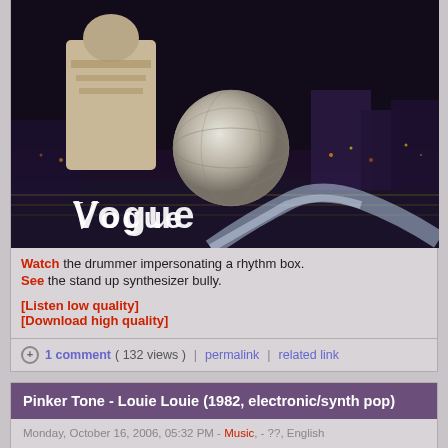[Figure (photo): Dark night city scene with a large glowing sphere/disco ball in the center, a figure on the left side, and city lights in the background. White handwritten-style text 'Vogue' in the lower left.]
Watch the drummer impersonating a rhythm box.
See the stand up synthesizer bully.
[Listen low quality]
[Download high quality]
1 comment ( 132 views )  |  permalink  |  related link
Pinker Tone - Louie Louie (1982, electronic/synth pop)
Monday, October 16, 2006, 05:32 PM - Music, - ??, English
Nothing is known about Pinker Tone, the more is known about the song.
You can read everything you never wanted to know about Louie Louie and were afraid